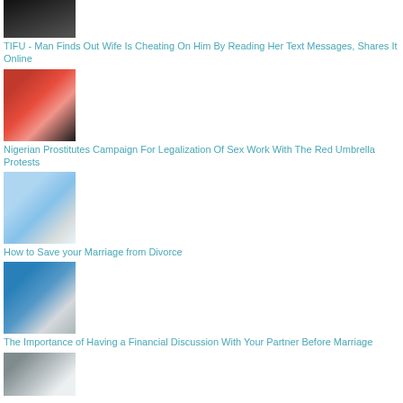[Figure (photo): Close-up photo of a man's face, mostly dark tones]
TIFU - Man Finds Out Wife Is Cheating On Him By Reading Her Text Messages, Shares It Online
[Figure (photo): Woman in white shirt with arms raised, crowd/protest background with red elements]
Nigerian Prostitutes Campaign For Legalization Of Sex Work With The Red Umbrella Protests
[Figure (photo): Cartoon-style image of groom running away from bride at wedding]
How to Save your Marriage from Divorce
[Figure (photo): Two people, man and woman, looking at documents together]
The Importance of Having a Financial Discussion With Your Partner Before Marriage
[Figure (photo): Group of people outdoors, partial view]